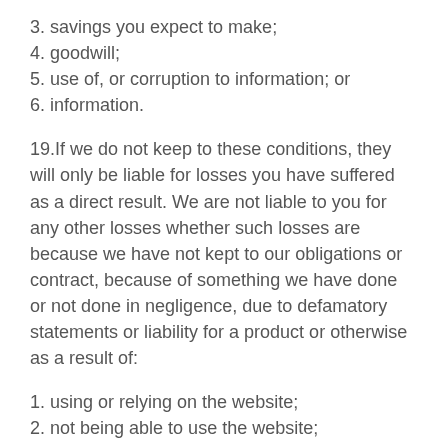3. savings you expect to make;
4. goodwill;
5. use of, or corruption to information; or
6. information.
19.If we do not keep to these conditions, they will only be liable for losses you have suffered as a direct result. We are not liable to you for any other losses whether such losses are because we have not kept to our obligations or contract, because of something we have done or not done in negligence, due to defamatory statements or liability for a product or otherwise as a result of:
1. using or relying on the website;
2. not being able to use the website;